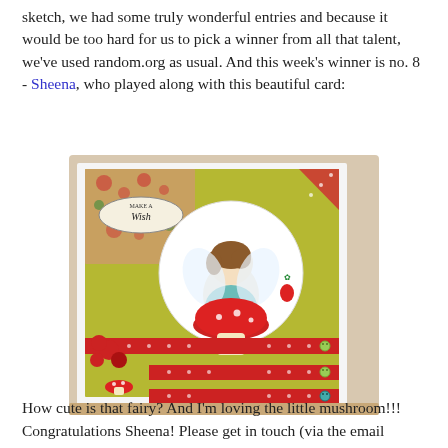sketch, we had some truly wonderful entries and because it would be too hard for us to pick a winner from all that talent, we've used random.org as usual. And this week's winner is no. 8 - Sheena, who played along with this beautiful card:
[Figure (photo): A handmade greeting card displayed on a wooden easel. The card features a fairy sitting on a red mushroom/toadstool, with a circular white panel. The card has yellow-green background, red polka-dot ribbon strips, red flower decorations, a small mushroom embellishment, and an oval tag reading 'Make a Wish'. Red strawberries are visible as accents.]
How cute is that fairy? And I'm loving the little mushroom!!! Congratulations Sheena! Please get in touch (via the email